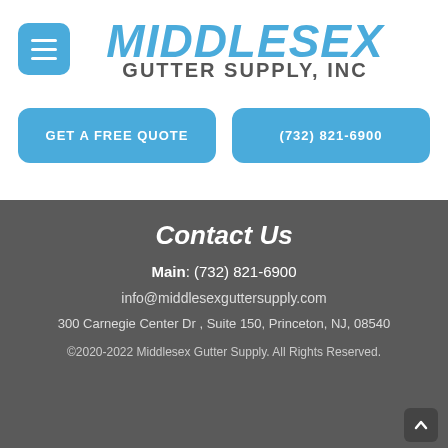[Figure (logo): Middlesex Gutter Supply, Inc logo with hamburger menu button and blue italic MIDDLESEX text with GUTTER SUPPLY, INC subtitle]
GET A FREE QUOTE
(732) 821-6900
Contact Us
Main: (732) 821-6900
info@middlesexguttersupply.com
300 Carnegie Center Dr , Suite 150, Princeton, NJ, 08540
©2020-2022 Middlesex Gutter Supply. All Rights Reserved.